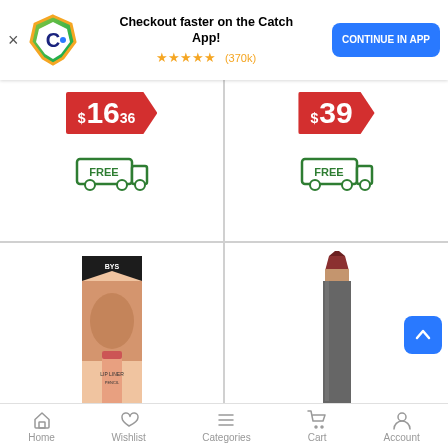[Figure (screenshot): Catch app banner with logo, star rating (4.8 stars, 370k reviews), 'Checkout faster on the Catch App!' message, and CONTINUE IN APP button]
$16 36
[Figure (infographic): Free shipping truck icon]
$39
[Figure (infographic): Free shipping truck icon]
[Figure (photo): BYS Matte Lip Liner Pencil Precise product in packaging]
BYS Matte Lip Liner Pencil Precise
[Figure (photo): LimeLily Treat Lip Pencil x100 Pencils - a dark reddish-brown pencil]
LimeLily Treat Lip Pencil x100 Pencils
Home   Wishlist   Categories   Cart   Account